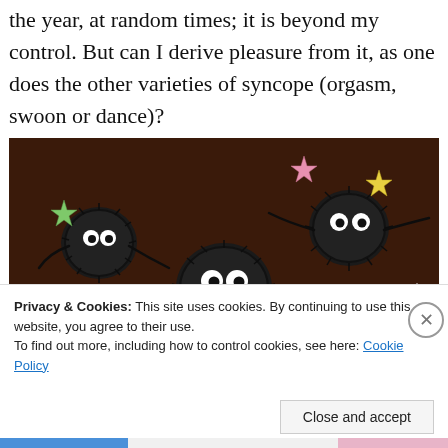the year, at random times; it is beyond my control. But can I derive pleasure from it, as one does the other varieties of syncope (orgasm, swoon or dance)?
[Figure (photo): Photograph of soot sprite characters (fuzzy black creatures with white eyes) decorated with colorful star-shaped candies in green, pink, yellow, and white, set against a dark brown chocolate background.]
Privacy & Cookies: This site uses cookies. By continuing to use this website, you agree to their use.
To find out more, including how to control cookies, see here: Cookie Policy